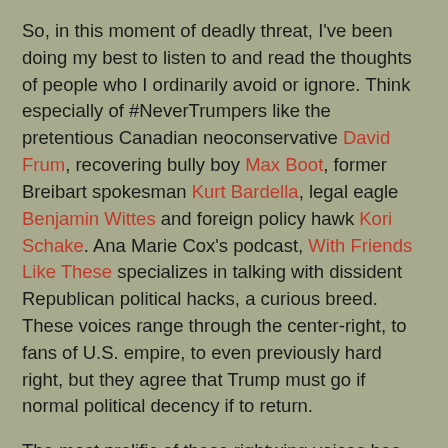So, in this moment of deadly threat, I've been doing my best to listen to and read the thoughts of people who I ordinarily avoid or ignore. Think especially of #NeverTrumpers like the pretentious Canadian neoconservative David Frum, recovering bully boy Max Boot, former Breibart spokesman Kurt Bardella, legal eagle Benjamin Wittes and foreign policy hawk Kori Schake. Ana Marie Cox's podcast, With Friends Like These specializes in talking with dissident Republican political hacks, a curious breed. These voices range through the center-right, to fans of U.S. empire, to even previously hard right, but they agree that Trump must go if normal political decency if to return.
The most prolific of these rightwing voices has been Jennifer Rubin who writes the Washington Post's Right Turn blog. She churns out a volume of anti-Trump/anti-GOPer argumentation and indignation unrivaled in the mainstream media. She's a brutally effective writer. So I was interested to hear her discuss with center-left political scientist Yasha Mounk what the parameters of a momentary left-right alliance might be. She's got a lot to say (my transcription